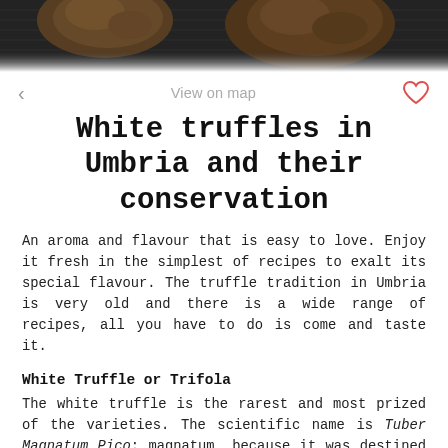[Figure (photo): Dark textured background with truffle mushrooms visible at top, serving as a decorative photo banner]
< View on map ♡
White truffles in Umbria and their conservation
An aroma and flavour that is easy to love. Enjoy it fresh in the simplest of recipes to exalt its special flavour. The truffle tradition in Umbria is very old and there is a wide range of recipes, all you have to do is come and taste it.
White Truffle or Trifola
The white truffle is the rarest and most prized of the varieties. The scientific name is Tuber Magnatum Pico: magnatum, because it was destined for consumption by magnates, the great tycoons of the table, and Pico from